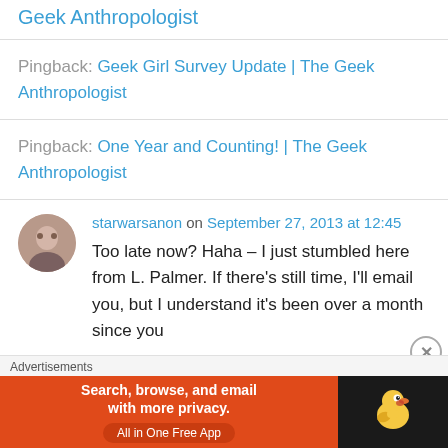Geek Anthropologist
Pingback: Geek Girl Survey Update | The Geek Anthropologist
Pingback: One Year and Counting! | The Geek Anthropologist
starwarsanon on September 27, 2013 at 12:45
Too late now? Haha – I just stumbled here from L. Palmer. If there's still time, I'll email you, but I understand it's been over a month since you
Advertisements
[Figure (infographic): DuckDuckGo advertisement banner: orange background with text 'Search, browse, and email with more privacy. All in One Free App', and dark right panel with DuckDuckGo duck logo]